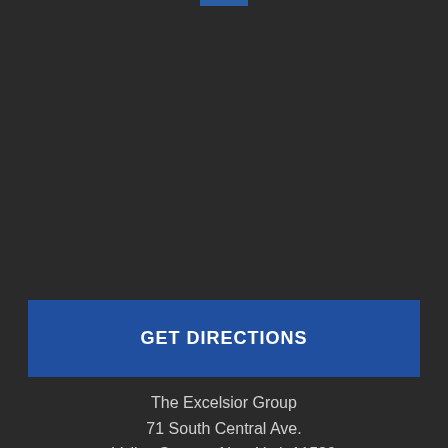GET DIRECTIONS
The Excelsior Group
71 South Central Ave.
Valley Stream, New York 11580